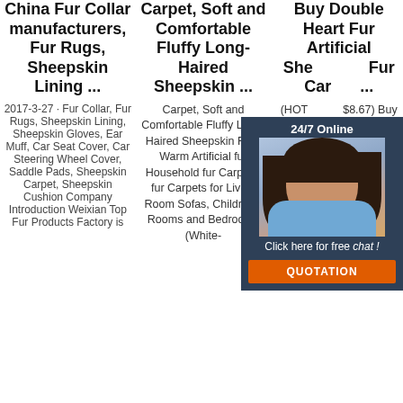China Fur Collar manufacturers, Fur Rugs, Sheepskin Lining ...
Carpet, Soft and Comfortable Fluffy Long-Haired Sheepskin ...
Buy Double Heart Fur Artificial Sheepskin Fur Carpet ...
2017-3-27 · Fur Collar, Fur Rugs, Sheepskin Lining, Sheepskin Gloves, Ear Muff, Car Seat Cover, Car Steering Wheel Cover, Saddle Pads, Sheepskin Carpet, Sheepskin Cushion Company Introduction Weixian Top Fur Products Factory is
Carpet, Soft and Comfortable Fluffy Long-Haired Sheepskin Rug, Warm Artificial fur Household fur Carpets, fur Carpets for Living Room Sofas, Children's Rooms and Bedrooms (White-
(HOT $8.67) Buy Double Heart Fur Artificial Sheepskin Fur Carpet For Living Room Bedroom Rugs Skin Plain Fluffy Area Rug Washable From Merchant Tagle
[Figure (photo): Chat widget overlay showing a woman with headset, '24/7 Online' text, 'Click here for free chat!' text, and an orange QUOTATION button]